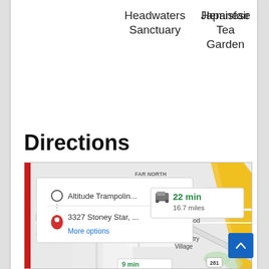Headwaters Sanctuary
Hemisfair
Japanese Tea Garden
Directions
[Figure (screenshot): Google Maps screenshot showing directions from Altitude Trampolin... to 3327 Stoney Star, ... with a route card showing 22 min, 16.7 miles by car, a More options link, and a map view showing Far North Central, Hollywood Park, Hill Country Village, and route 281, with a partial card at the bottom showing 9 min.]